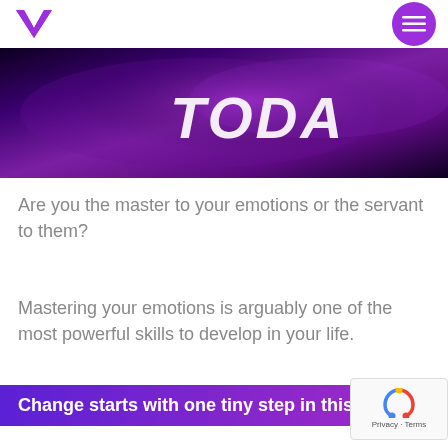Vendor logo and menu button
[Figure (photo): Dark purple/violet hero banner image with italic white text 'TODA...' partially visible, with dramatic lighting and gradient background]
Are you the master to your emotions or the servant to them?
Mastering your emotions is arguably one of the most powerful skills to develop in your life.
Change starts with one tiny step in this very mo